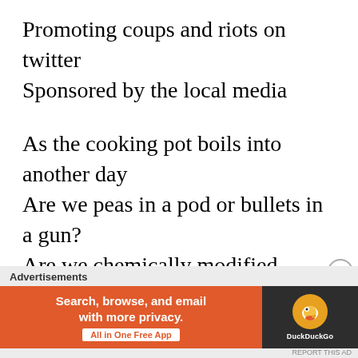Promoting coups and riots on twitter
Sponsored by the local media
As the cooking pot boils into another day
Are we peas in a pod or bullets in a gun?
Are we chemically modified vegetables
Adapted so we have no where to run
Did the carrot get censored by the
[Figure (other): DuckDuckGo advertisement banner with orange background on left side reading 'Search, browse, and email with more privacy. All in One Free App' and dark right side with DuckDuckGo duck logo]
Advertisements